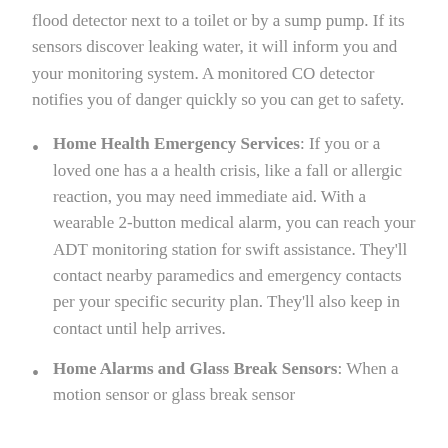flood detector next to a toilet or by a sump pump. If its sensors discover leaking water, it will inform you and your monitoring system. A monitored CO detector notifies you of danger quickly so you can get to safety.
Home Health Emergency Services: If you or a loved one has a a health crisis, like a fall or allergic reaction, you may need immediate aid. With a wearable 2-button medical alarm, you can reach your ADT monitoring station for swift assistance. They'll contact nearby paramedics and emergency contacts per your specific security plan. They'll also keep in contact until help arrives.
Home Alarms and Glass Break Sensors: When a motion sensor or glass break sensor